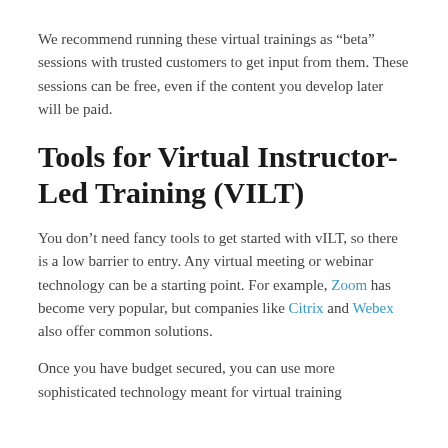We recommend running these virtual trainings as “beta” sessions with trusted customers to get input from them. These sessions can be free, even if the content you develop later will be paid.
Tools for Virtual Instructor-Led Training (VILT)
You don’t need fancy tools to get started with vILT, so there is a low barrier to entry. Any virtual meeting or webinar technology can be a starting point. For example, Zoom has become very popular, but companies like Citrix and Webex also offer common solutions.
Once you have budget secured, you can use more sophisticated technology meant for virtual training